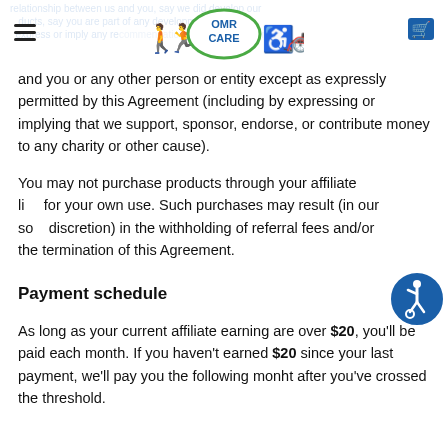OMR Care — navigation header with logo
relationship between us and you, say we did develop our products, say you are part of any development or express or imply any recommendation affiliation between us and you or any other person or entity except as expressly permitted by this Agreement (including by expressing or implying that we support, sponsor, endorse, or contribute money to any charity or other cause).
You may not purchase products through your affiliate link for your own use. Such purchases may result (in our sole discretion) in the withholding of referral fees and/or the termination of this Agreement.
Payment schedule
As long as your current affiliate earning are over $20, you'll be paid each month. If you haven't earned $20 since your last payment, we'll pay you the following monht after you've crossed the threshold.